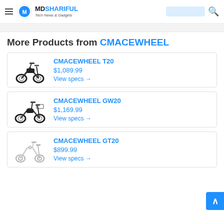MDSHARIFUL Tech News & Gadgets
More Products from CMACEWHEEL
CMACEWHEEL T20
$1,089.99
View specs →
CMACEWHEEL GW20
$1,169.99
View specs →
CMACEWHEEL GT20
$899.99
View specs →